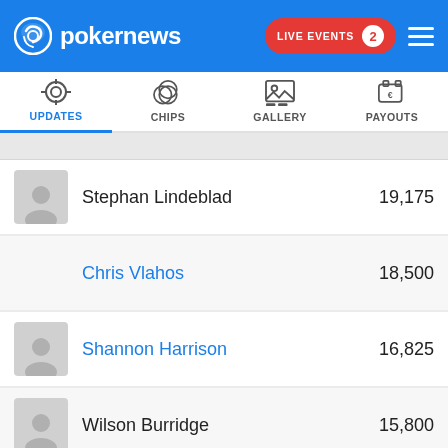pokernews — LIVE EVENTS 2
[Figure (screenshot): Navigation tab bar with UPDATES (active, blue), CHIPS, GALLERY, PAYOUTS icons]
Stephan Lindeblad — 19,175
Chris Vlahos — 18,500
Shannon Harrison — 16,825
Wilson Burridge — 15,800
David Profaca — 15,700